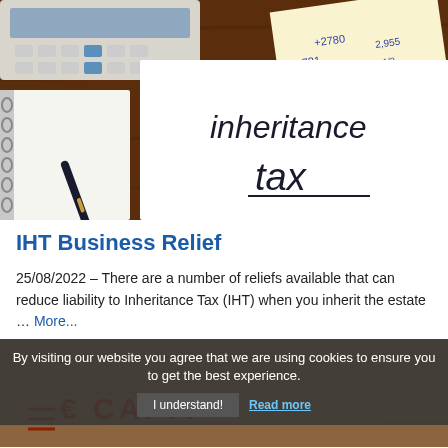[Figure (photo): Photo of a desk with a calculator, notebook, pen, handwritten financial numbers on paper, and a white sheet with bold text reading 'inheritance tax']
IHT Business Relief
25/08/2022 – There are a number of reliefs available that can reduce liability to Inheritance Tax (IHT) when you inherit the estate … More...
[Figure (photo): Partial photo showing a wooden surface with text 'CAPITAL' visible and a cookie consent bar overlay]
By visiting our website you agree that we are using cookies to ensure you to get the best experience.
I understand!
Read more